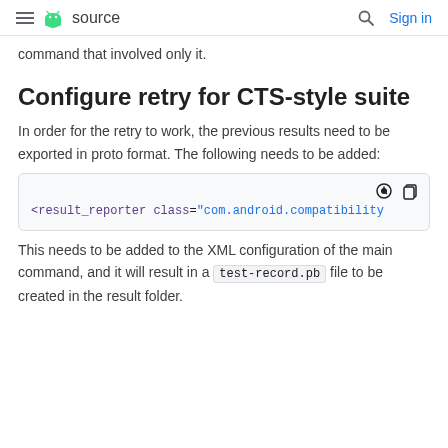≡ 🤖 source  🔍  Sign in
command that involved only it.
Configure retry for CTS-style suite
In order for the retry to work, the previous results need to be exported in proto format. The following needs to be added:
<result_reporter class="com.android.compatibility
This needs to be added to the XML configuration of the main command, and it will result in a test-record.pb file to be created in the result folder.